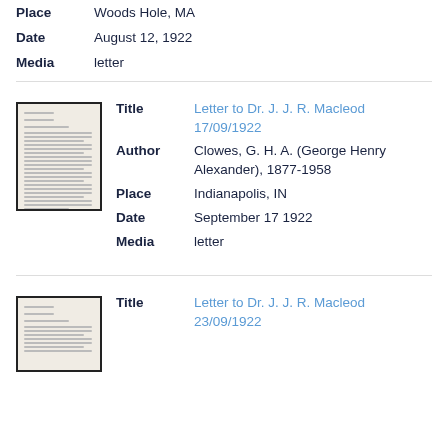Place: Woods Hole, MA
Date: August 12, 1922
Media: letter
[Figure (photo): Thumbnail of a typed letter document]
Title: Letter to Dr. J. J. R. Macleod 17/09/1922
Author: Clowes, G. H. A. (George Henry Alexander), 1877-1958
Place: Indianapolis, IN
Date: September 17 1922
Media: letter
[Figure (photo): Thumbnail of a typed letter document]
Title: Letter to Dr. J. J. R. Macleod 23/09/1922